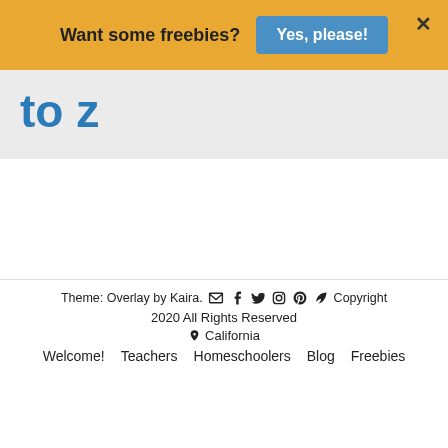Want some freebies? Yes, please! X
to z
Theme: Overlay by Kaira. Copyright 2020 All Rights Reserved California Welcome! Teachers Homeschoolers Blog Freebies